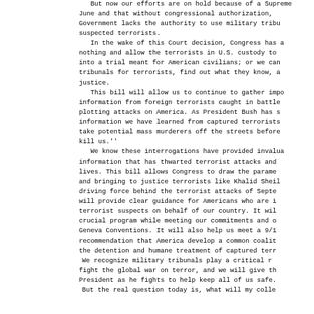But now our efforts are on hold because of a Supreme Court decision in June and that without congressional authorization, the Government lacks the authority to use military tribunals to try suspected terrorists. In the wake of this Court decision, Congress has a choice: do nothing and allow the terrorists in U.S. custody to either go free or be forced into a trial meant for American civilians; or we can authorize military tribunals for terrorists, find out what they know, and bring them to justice. This bill will allow us to continue to gather important intelligence information from foreign terrorists caught in battle or planning or plotting attacks on America. As President Bush has said, ''Much of the information we have learned from captured terrorists has helped us take potential mass murderers off the streets before they are able to kill us.'' We know these interrogations have provided invaluable intelligence information that has thwarted terrorist attacks and saved American lives. This bill allows Congress to draw the parameters for capturing and bringing to justice terrorists like Khalid Sheikh Mohammed, the driving force behind the terrorist attacks of September 11, 2001. It will provide clear guidance for Americans who are interrogating terrorist suspects on behalf of our country. It will preserve a crucial program while meeting our commitments and obligations under the Geneva Conventions. It will also help us meet a 9/11 Commission recommendation that America develop a common coalition standard for the detention and humane treatment of captured terrorists. We recognize military tribunals play a critical role in our efforts to fight the global war on terror, and we will give the tools to our President as he fights to help keep all of us safe. But the real question today is, what will my colleagues...